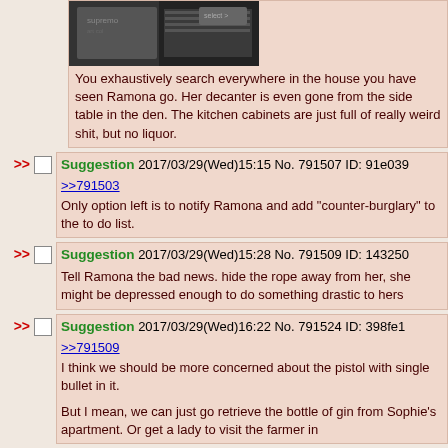[Figure (screenshot): Screenshot of a dark room/locker area image]
You exhaustively search everywhere in the house you have seen Ramona go. Her decanter is even gone from the side table in the den. The kitchen cabinets are just full of really weird shit, but no liquor.
Suggestion 2017/03/29(Wed)15:15 No. 791507 ID: 91e039
>>791503
Only option left is to notify Ramona and add "counter-burglary" to the to do list.
Suggestion 2017/03/29(Wed)15:28 No. 791509 ID: 143250
Tell Ramona the bad news. hide the rope away from her, she might be depressed enough to do something drastic to herself
Suggestion 2017/03/29(Wed)16:22 No. 791524 ID: 398fe1
>>791509
I think we should be more concerned about the pistol with single bullet in it.

But I mean, we can just go retrieve the bottle of gin from Sophie's apartment. Or get a lady to visit the farmer in